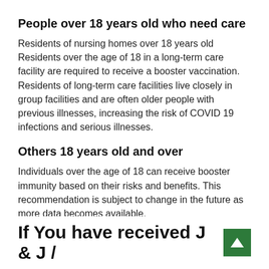People over 18 years old who need care
Residents of nursing homes over 18 years old Residents over the age of 18 in a long-term care facility are required to receive a booster vaccination. Residents of long-term care facilities live closely in group facilities and are often older people with previous illnesses, increasing the risk of COVID 19 infections and serious illnesses.
Others 18 years old and over
Individuals over the age of 18 can receive booster immunity based on their risks and benefits. This recommendation is subject to change in the future as more data becomes available.
If You have received J & J /